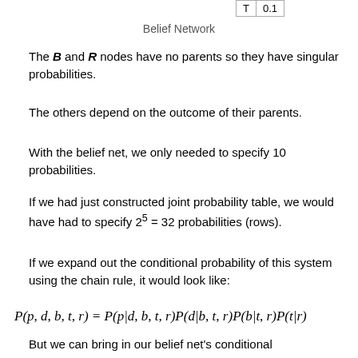| T | 0.1 |
| --- | --- |
Belief Network
The B and R nodes have no parents so they have singular probabilities.
The others depend on the outcome of their parents.
With the belief net, we only needed to specify 10 probabilities.
If we had just constructed joint probability table, we would have had to specify 2^5 = 32 probabilities (rows).
If we expand out the conditional probability of this system using the chain rule, it would look like:
But we can bring in our belief net's conditional